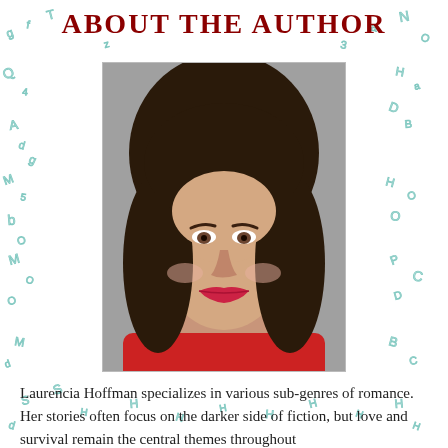ABOUT THE AUTHOR
[Figure (photo): Headshot portrait of Laurencia Hoffman, a woman with dark brown shoulder-length hair, wearing red lipstick and a red top, photographed against a gray background]
Laurencia Hoffman specializes in various sub-genres of romance. Her stories often focus on the darker side of fiction, but love and survival remain the central themes throughout